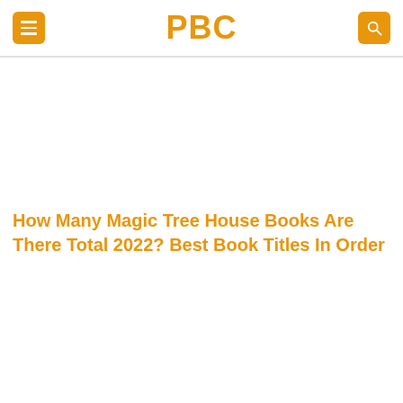PBC
How Many Magic Tree House Books Are There Total 2022? Best Book Titles In Order